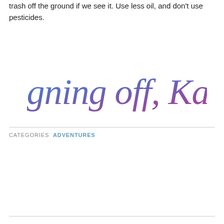trash off the ground if we see it. Use less oil, and don't use pesticides.
[Figure (illustration): Decorative cursive script text reading 'Signing off, Kate' in a blue-to-purple gradient watercolor style]
CATEGORIES  ADVENTURES